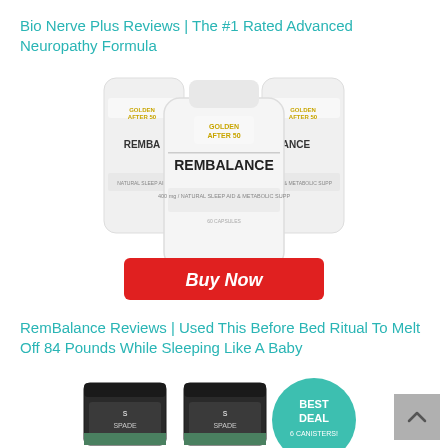Bio Nerve Plus Reviews | The #1 Rated Advanced Neuropathy Formula
[Figure (photo): Three white supplement bottles labeled REMBALANCE with Golden After 50 branding, arranged in a triangular formation, with a red Buy Now button below]
RemBalance Reviews | Used This Before Bed Ritual To Melt Off 84 Pounds While Sleeping Like A Baby
[Figure (photo): Six dark canisters of SPADE brand supplement arranged in two rows of three, with a teal circular badge reading BEST DEAL 6 CANISTERS!]